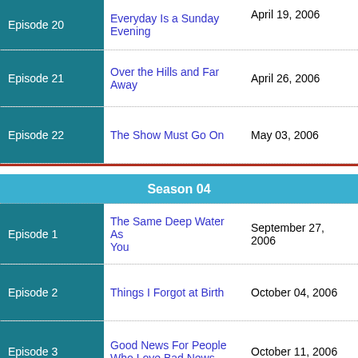| Episode | Title | Air Date |
| --- | --- | --- |
| Episode 20 | Everyday Is a Sunday Evening | April 19, 2006 |
| Episode 21 | Over the Hills and Far Away | April 26, 2006 |
| Episode 22 | The Show Must Go On | May 03, 2006 |
Season 04
| Episode | Title | Air Date |
| --- | --- | --- |
| Episode 1 | The Same Deep Water As You | September 27, 2006 |
| Episode 2 | Things I Forgot at Birth | October 04, 2006 |
| Episode 3 | Good News For People Who Love Bad News | October 11, 2006 |
| Episode 4 | Can't Stop This Thing We've Started | October 18, 2006 |